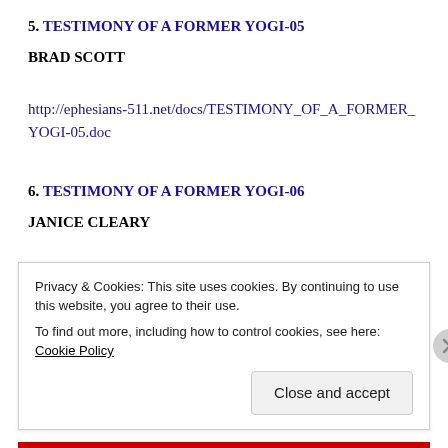5. TESTIMONY OF A FORMER YOGI-05
BRAD SCOTT
http://ephesians-511.net/docs/TESTIMONY_OF_A_FORMER_YOGI-05.doc
6. TESTIMONY OF A FORMER YOGI-06
JANICE CLEARY
http://ephesians-511.net/docs/TESTIMONY_OF_A_FORMER_YOGI-06.doc
Privacy & Cookies: This site uses cookies. By continuing to use this website, you agree to their use.
To find out more, including how to control cookies, see here: Cookie Policy